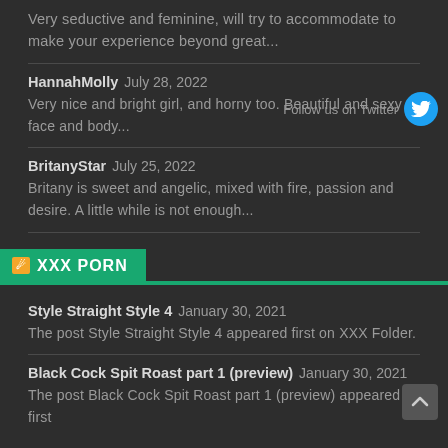Very seductive and feminine, will try to accommodate to make your experience beyond great...
HannahMolly July 28, 2022 — Very nice and bright girl, and horny too. Beautiful and sexy face and body...
[Figure (logo): Follow us on Twitter button with Twitter bird icon in blue circle]
BritanyStar July 25, 2022 — Britany is sweet and angelic, mixed with fire, passion and desire. A little while is not enough...
XXX PORN
Style Straight Style 4 January 30, 2021 — The post Style Straight Style 4 appeared first on XXX Folder.
Black Cock Spit Roast part 1 (preview) January 30, 2021 — The post Black Cock Spit Roast part 1 (preview) appeared first